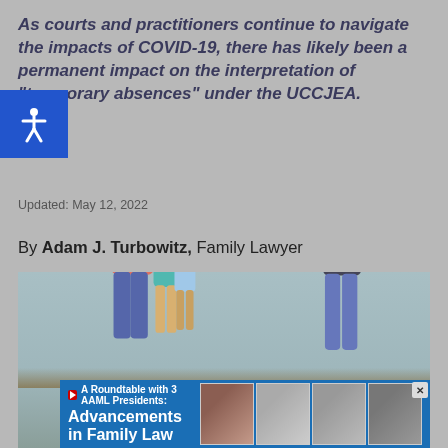As courts and practitioners continue to navigate the impacts of COVID-19, there has likely been a permanent impact on the interpretation of "temporary absences" under the UCCJEA.
Updated: May 12, 2022
By Adam J. Turbowitz, Family Lawyer
[Figure (photo): A woman with two children standing on one side facing a man standing apart on the other side, suggesting a custody or separation scenario. At the bottom, a banner reads: WATCH [YouTube icon] A Roundtable with 3 AAML Presidents: Advancements in Family Law, with headshots of four people.]